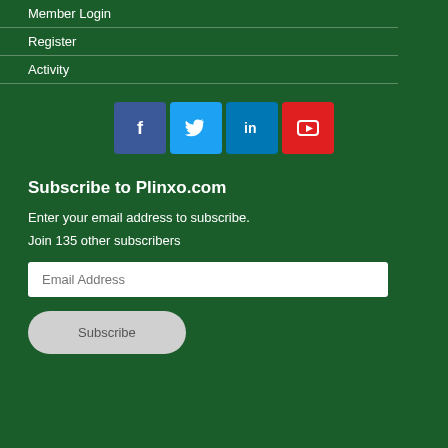Member Login
Register
Activity
[Figure (infographic): Social media icon buttons: Facebook (blue), Twitter (light blue), LinkedIn (blue), YouTube (red)]
Subscribe to Plinxo.com
Enter your email address to subscribe.
Join 135 other subscribers
Email Address
Subscribe